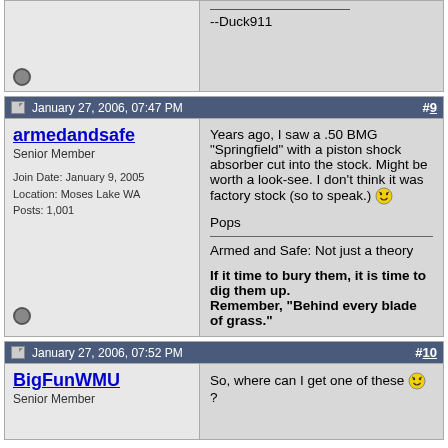--Duck911
[Figure (other): Offline status icon (grey circle)]
January 27, 2006, 07:47 PM  #9
armedandsafe
Senior Member
Join Date: January 9, 2005
Location: Moses Lake WA
Posts: 1,001
Years ago, I saw a .50 BMG "Springfield" with a piston shock absorber cut into the stock. Might be worth a look-see. I don't think it was factory stock (so to speak.)
[smiley]
Pops
________________
Armed and Safe: Not just a theory

If it time to bury them, it is time to dig them up.
Remember, "Behind every blade of grass."
[Figure (other): Offline status icon (grey circle)]
January 27, 2006, 07:52 PM  #10
BigFunWMU
Senior Member
So, where can I get one of these [smiley]?